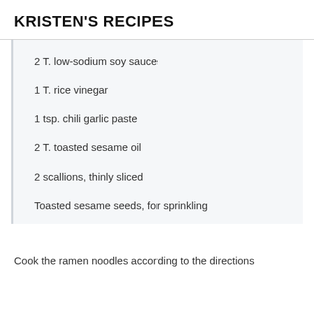KRISTEN'S RECIPES
2 T. low-sodium soy sauce
1 T. rice vinegar
1 tsp. chili garlic paste
2 T. toasted sesame oil
2 scallions, thinly sliced
Toasted sesame seeds, for sprinkling
Cook the ramen noodles according to the directions